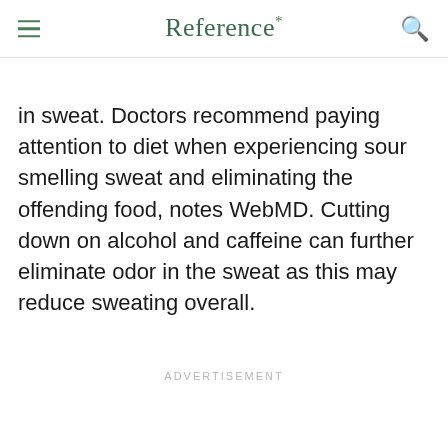Reference*
in sweat. Doctors recommend paying attention to diet when experiencing sour smelling sweat and eliminating the offending food, notes WebMD. Cutting down on alcohol and caffeine can further eliminate odor in the sweat as this may reduce sweating overall.
ADVERTISEMENT